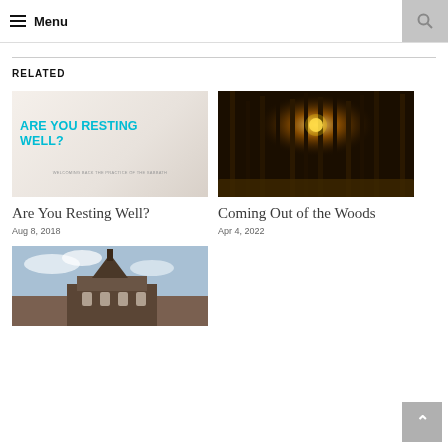Menu
RELATED
[Figure (photo): Blog post thumbnail: white bedroom background with cyan bold text reading 'ARE YOU RESTING WELL?' and subtitle 'Welcoming back the practice of the Sabbath']
Are You Resting Well?
Aug 8, 2018
[Figure (photo): Dark forest with tall pine trees and a glowing warm light source visible between the trees]
Coming Out of the Woods
Apr 4, 2022
[Figure (photo): Exterior photo of a Dutch-style church or historic building with a steeple, under a partly cloudy sky]